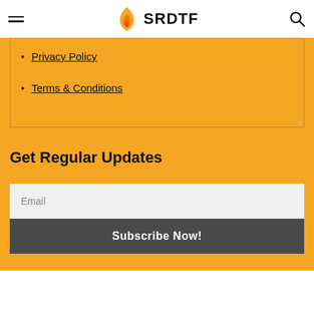SRDTF
Privacy Policy
Terms & Conditions
Get Regular Updates
Email
Subscribe Now!